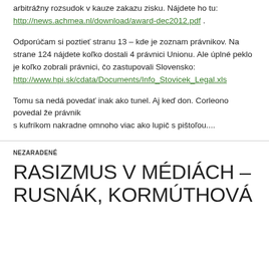arbitrážny rozsudok v kauze zakazu zisku. Nájdete ho tu: http://news.achmea.nl/download/award-dec2012.pdf .
Odporúčam si poztieť stranu 13 – kde je zoznam právnikov. Na strane 124 nájdete koľko dostali 4 právnici Unionu. Ale úplné peklo je koľko zobrali právnici, čo zastupovali Slovensko: http://www.hpi.sk/cdata/Documents/Info_Stovicek_Legal.xls
Tomu sa nedá povedať inak ako tunel. Aj keď don. Corleono povedal že právnik s kufríkom nakradne omnoho viac ako lupič s pištoľou....
NEZARADENÉ
RASIZMUS V MÉDIÁCH – RUSNÁK, KORMÚTHOVÁ